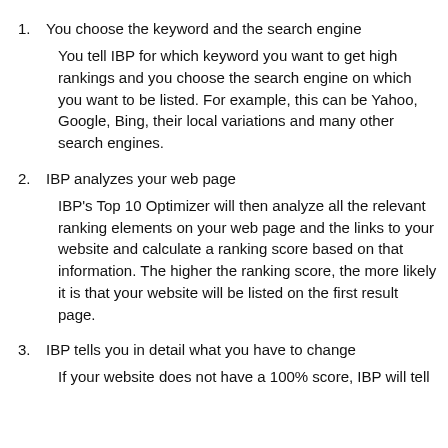1. You choose the keyword and the search engine

You tell IBP for which keyword you want to get high rankings and you choose the search engine on which you want to be listed. For example, this can be Yahoo, Google, Bing, their local variations and many other search engines.
2. IBP analyzes your web page

IBP's Top 10 Optimizer will then analyze all the relevant ranking elements on your web page and the links to your website and calculate a ranking score based on that information. The higher the ranking score, the more likely it is that your website will be listed on the first result page.
3. IBP tells you in detail what you have to change

If your website does not have a 100% score, IBP will tell